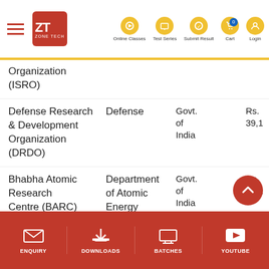Zone Tech | Online Classes | Test Series | Submit Result | Cart | Login
| Organization | Department | Ownership |  | Budget |
| --- | --- | --- | --- | --- |
| Organization (ISRO) |  |  |  |  |
| Defense Research & Development Organization (DRDO) | Defense | Govt. of India |  | Rs. 39,1 |
| Bhabha Atomic Research Centre (BARC) | Department of Atomic Energy | Govt. of India |  | Rs. 39,1 |
| Electronics Corporation | Department of Atomic | Govt. of India |  | Rs. 40,5 |
ENQUIRY | DOWNLOADS | BATCHES | YOUTUBE